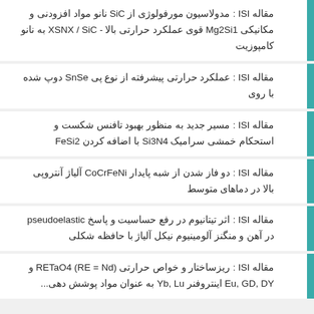مقاله ISI : مدولاسیون مورفولوژی از SiC نانو مواد افزودنی و مکانیکی Mg2Si1 قوی عملکرد حرارتی بالا - XSNX / SiC به نانو کامپوزیت
مقاله ISI : عملکرد حرارتی پیشرفته از نوع پی SnSe دوپ شده با روی
مقاله ISI : مسیر جدید به منظور بهبود تافنس شکست و استحکام خمشی سرامیک Si3N4 با اضافه کردن FeSi2
مقاله ISI : دو فاز شدن از شبه پایدار CoCrFeNi آلیاژ آنتروپی بالا در دماهای متوسط
مقاله ISI : اثر تیتانیوم در رفع حساسیت و پاسخ pseudoelastic در آهن و منگنز آلومینیوم نیکل آلیاژ با حافظه شکلی
مقاله ISI : ریزساختار و خواص حرارتی RETaO4 (RE = Nd) و Eu, GD, DY اینتروفنر Yb, Lu به عنوان مواد پوشش دهی...